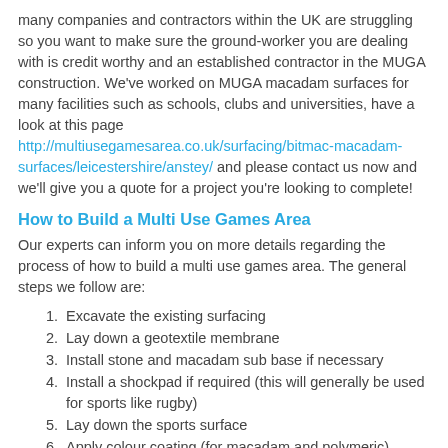many companies and contractors within the UK are struggling so you want to make sure the ground-worker you are dealing with is credit worthy and an established contractor in the MUGA construction. We've worked on MUGA macadam surfaces for many facilities such as schools, clubs and universities, have a look at this page http://multiusegamesarea.co.uk/surfacing/bitmac-macadam-surfaces/leicestershire/anstey/ and please contact us now and we'll give you a quote for a project you're looking to complete!
How to Build a Multi Use Games Area
Our experts can inform you on more details regarding the process of how to build a multi use games area. The general steps we follow are:
Excavate the existing surfacing
Lay down a geotextile membrane
Install stone and macadam sub base if necessary
Install a shockpad if required (this will generally be used for sports like rugby)
Lay down the sports surface
Apply colour coating (for macadam and polymeric)